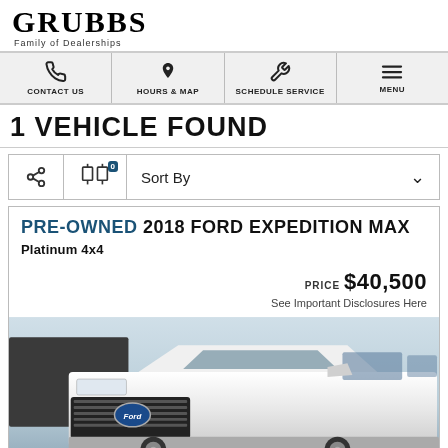GRUBBS Family of Dealerships
CONTACT US | HOURS & MAP | SCHEDULE SERVICE | MENU
1 VEHICLE FOUND
Sort By
PRE-OWNED 2018 FORD EXPEDITION MAX Platinum 4x4 PRICE $40,500 See Important Disclosures Here
[Figure (photo): Front view of a white 2018 Ford Expedition Max Platinum 4x4 SUV parked outdoors against a light sky background]